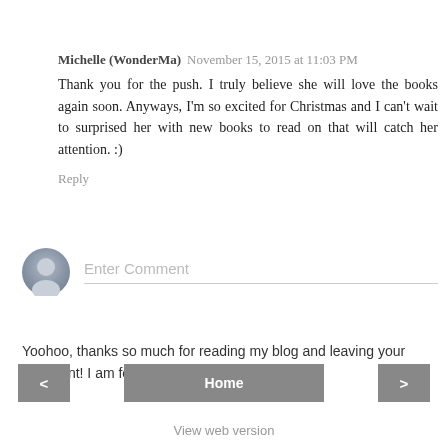Michelle (WonderMa)  November 15, 2015 at 11:03 PM
Thank you for the push. I truly believe she will love the books again soon. Anyways, I'm so excited for Christmas and I can't wait to surprised her with new books to read on that will catch her attention. :)
Reply
Enter Comment
Yoohoo, thanks so much for reading my blog and leaving your comment! I am feeling the love! (^.^)
< Home >
View web version